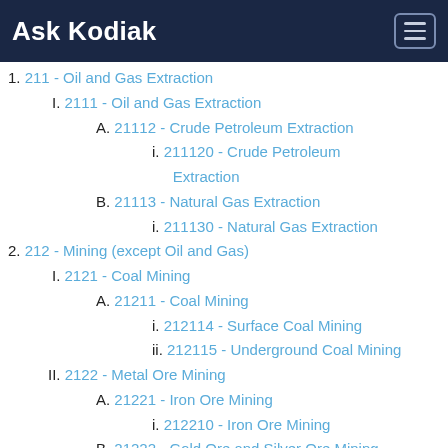Ask Kodiak
1. 211 - Oil and Gas Extraction
I. 2111 - Oil and Gas Extraction
A. 21112 - Crude Petroleum Extraction
i. 211120 - Crude Petroleum Extraction
B. 21113 - Natural Gas Extraction
i. 211130 - Natural Gas Extraction
2. 212 - Mining (except Oil and Gas)
I. 2121 - Coal Mining
A. 21211 - Coal Mining
i. 212114 - Surface Coal Mining
ii. 212115 - Underground Coal Mining
II. 2122 - Metal Ore Mining
A. 21221 - Iron Ore Mining
i. 212210 - Iron Ore Mining
B. 21222 - Gold Ore and Silver Ore Mining
i. 212220 - Gold Ore and Silver Ore